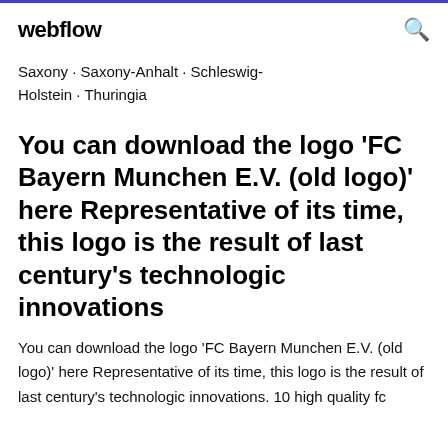webflow
Saxony · Saxony-Anhalt · Schleswig-Holstein · Thuringia
You can download the logo 'FC Bayern Munchen E.V. (old logo)' here Representative of its time, this logo is the result of last century's technologic innovations
You can download the logo 'FC Bayern Munchen E.V. (old logo)' here Representative of its time, this logo is the result of last century's technologic innovations. 10 high quality fc